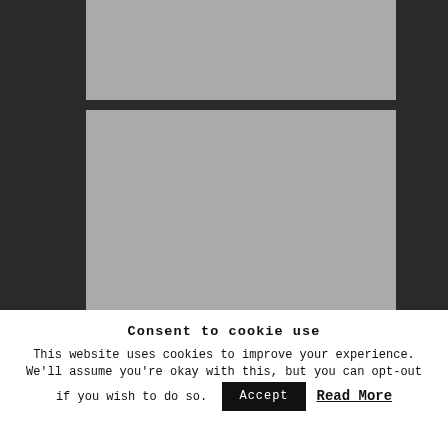[Figure (screenshot): Dark background with two stacked gray image placeholders. The lower placeholder has a copy/layers icon in the upper right corner.]
Consent to cookie use
This website uses cookies to improve your experience. We'll assume you're okay with this, but you can opt-out if you wish to do so.
Accept
Read More